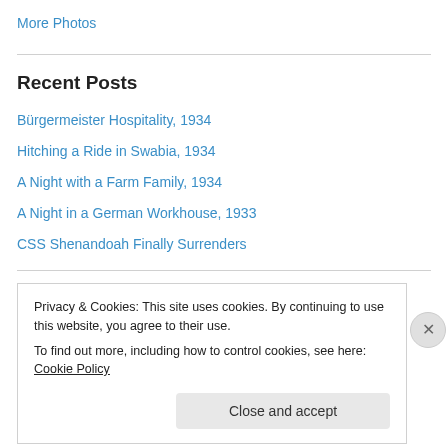More Photos
Recent Posts
Bürgermeister Hospitality, 1934
Hitching a Ride in Swabia, 1934
A Night with a Farm Family, 1934
A Night in a German Workhouse, 1933
CSS Shenandoah Finally Surrenders
Top Posts
Privacy & Cookies: This site uses cookies. By continuing to use this website, you agree to their use.
To find out more, including how to control cookies, see here: Cookie Policy
Close and accept